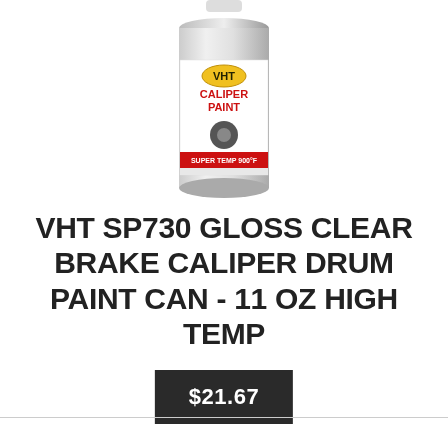[Figure (photo): VHT Caliper Paint spray can with white and black label showing 'VHT CALIPER PAINT' in red text, partially cropped at top]
VHT SP730 GLOSS CLEAR BRAKE CALIPER DRUM PAINT CAN - 11 OZ HIGH TEMP
$21.67